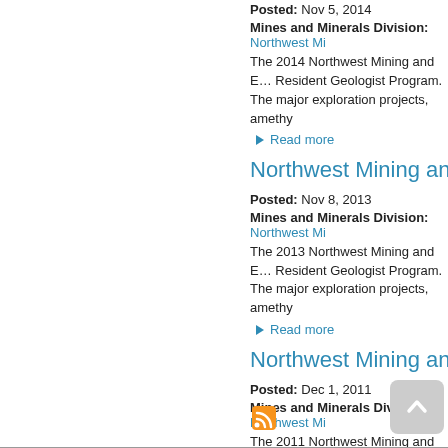Posted: Nov 5, 2014
Mines and Minerals Division: Northwest Mi…
The 2014 Northwest Mining and E… Resident Geologist Program. The… major exploration projects, amethy…
Read more
Northwest Mining and…
Posted: Nov 8, 2013
Mines and Minerals Division: Northwest Mi…
The 2013 Northwest Mining and E… Resident Geologist Program. The… major exploration projects, amethy…
Read more
Northwest Mining and…
Posted: Dec 1, 2011
Mines and Minerals Division: Northwest Mi…
The 2011 Northwest Mining and E…
Read more